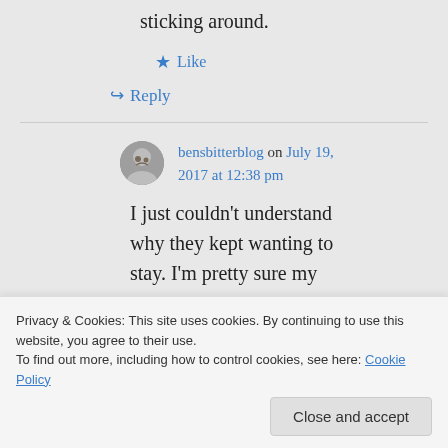sticking around.
★ Like
↪ Reply
bensbitterblog on July 19, 2017 at 12:38 pm
I just couldn't understand why they kept wanting to stay. I'm pretty sure my
Privacy & Cookies: This site uses cookies. By continuing to use this website, you agree to their use.
To find out more, including how to control cookies, see here: Cookie Policy
Close and accept